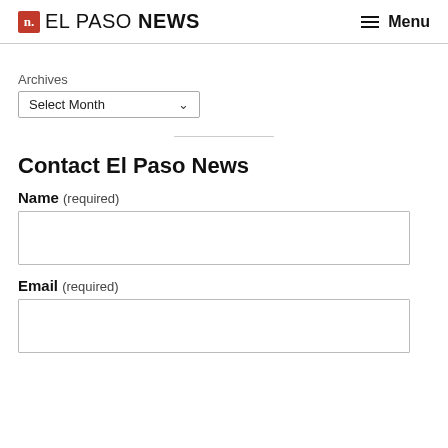n. EL PASO NEWS  ≡ Menu
Archives
Select Month
Contact El Paso News
Name (required)
Email (required)